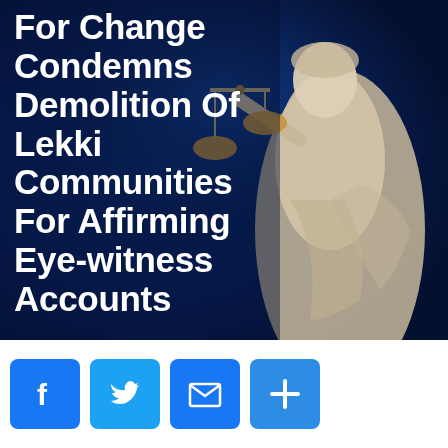[Figure (photo): Background image showing a Lady Justice statue holding scales, against a dark blue sky. Bold white text overlays the left portion reading: 'For Change Condemns Demolition Of Lekki Communities For Affirming Eye-witness Accounts']
For Change Condemns Demolition Of Lekki Communities For Affirming Eye-witness Accounts
[Figure (infographic): Social sharing buttons row: Facebook (blue F icon), Twitter (blue bird icon), Email (blue envelope icon), Share/More (blue plus icon)]